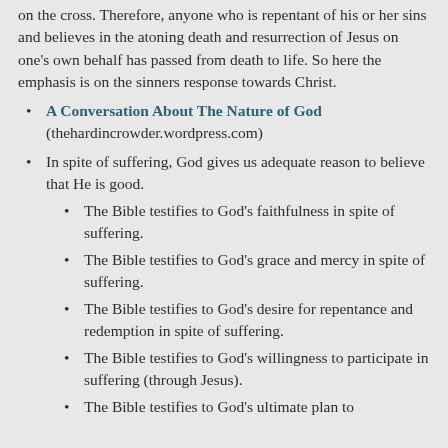on the cross. Therefore, anyone who is repentant of his or her sins and believes in the atoning death and resurrection of Jesus on one's own behalf has passed from death to life. So here the emphasis is on the sinners response towards Christ.
A Conversation About The Nature of God (thehardincrowder.wordpress.com)
In spite of suffering, God gives us adequate reason to believe that He is good.
The Bible testifies to God's faithfulness in spite of suffering.
The Bible testifies to God's grace and mercy in spite of suffering.
The Bible testifies to God's desire for repentance and redemption in spite of suffering.
The Bible testifies to God's willingness to participate in suffering (through Jesus).
The Bible testifies to God's ultimate plan to